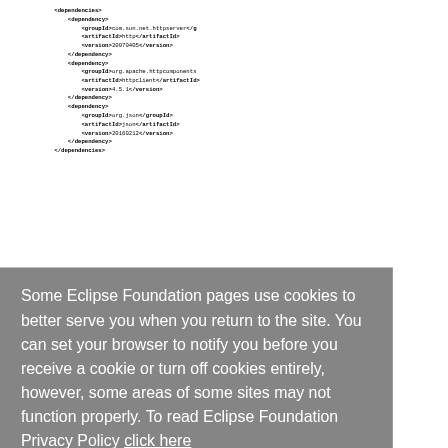[Figure (screenshot): Code block showing XML Maven dependencies with groupId, artifactId, version tags for com.sun.net.httpserver, org.apache.httpcomponents httpclient 4.5.1, and org.json json 20160212]
Some Eclipse Foundation pages use cookies to better serve you when you return to the site. You can set your browser to notify you before you receive a cookie or turn off cookies entirely, however, some areas of some sites may not function properly. To read Eclipse Foundation Privacy Policy click here
Project classes
RestHttpClient
package org.eclipse.om2m.app;
import org.apache.http.client.methods.Cl
import org.apache.http.client.methods.*;